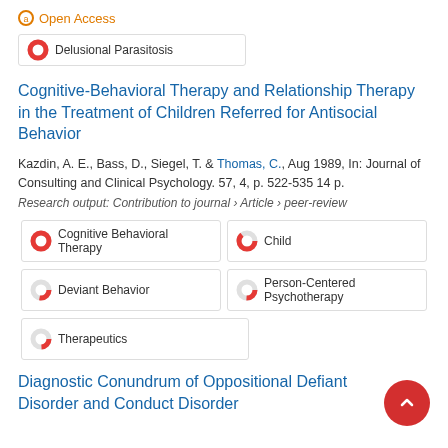Open Access
Delusional Parasitosis
Cognitive-Behavioral Therapy and Relationship Therapy in the Treatment of Children Referred for Antisocial Behavior
Kazdin, A. E., Bass, D., Siegel, T. & Thomas, C., Aug 1989, In: Journal of Consulting and Clinical Psychology. 57, 4, p. 522-535 14 p.
Research output: Contribution to journal › Article › peer-review
Cognitive Behavioral Therapy
Child
Deviant Behavior
Person-Centered Psychotherapy
Therapeutics
Diagnostic Conundrum of Oppositional Defiant Disorder and Conduct Disorder